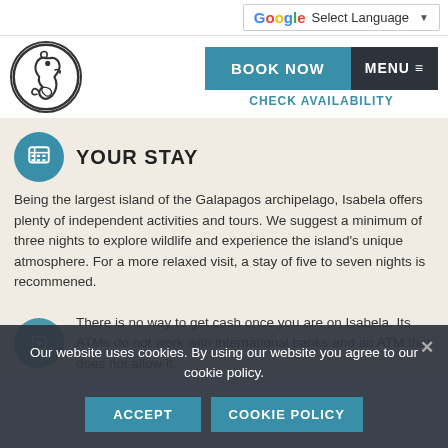Select Language
[Figure (logo): Seahorse logo inside a circle]
BOOK NOW
CHECK AVAILABILITY
MENU
YOUR STAY
Being the largest island of the Galapagos archipelago, Isabela offers plenty of independent activities and tours. We suggest a minimum of three nights to explore wildlife and experience the island's unique atmosphere. For a more relaxed visit, a stay of five to seven nights is recommened.
Our website uses cookies. By using our website you agree to our cookie policy.
ACCEPT   COOKIE POLICY
There is no way to get cash once you are on Isabela. Its ATMs do not work with international banks and an ATM that does not allow it.